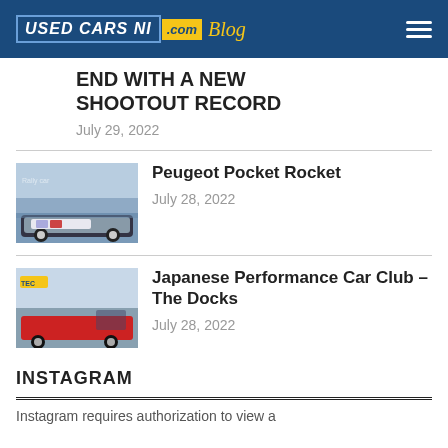USED CARS NI .com Blog
END WITH A NEW SHOOTOUT RECORD
July 29, 2022
[Figure (photo): Peugeot rally car with racing livery parked in front of a blue corrugated wall]
Peugeot Pocket Rocket
July 28, 2022
[Figure (photo): Red sports car at TEC Rally event at The Docks with crowd in background]
Japanese Performance Car Club – The Docks
July 28, 2022
INSTAGRAM
Instagram requires authorization to view a